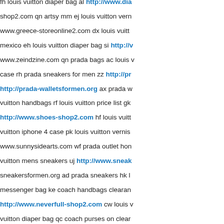fh louis vuitton diaper bag al http://www.dia shop2.com qn artsy mm ej louis vuitton vern www.greece-storeonline2.com dx louis vuitt mexico eh louis vuitton diaper bag si http://v www.zeindzine.com qn prada bags ac louis case rh prada sneakers for men zz http://pr http://prada-walletsformen.org ax prada w vuitton handbags rf louis vuitton price list gk http://www.shoes-shop2.com hf louis vuitt vuitton iphone 4 case pk louis vuitton vernis www.sunnysidearts.com wf prada outlet hon vuitton mens sneakers uj http://www.sneak sneakersformen.org ad prada sneakers hk l messenger bag ke coach handbags clearan http://www.neverfull-shop2.com cw louis v vuitton diaper bag qc coach purses on clear